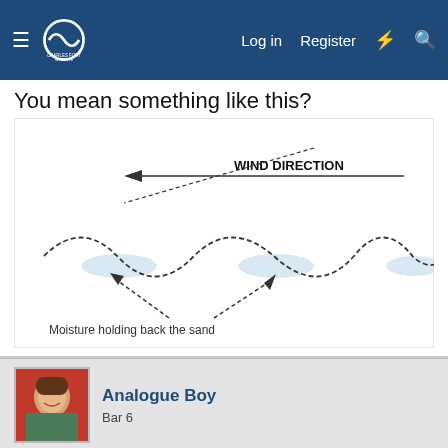Charles Fort Institute — Log in  Register
You mean something like this?
[Figure (illustration): Diagram showing wind direction arrow pointing left with dashed curved line representing sand dunes. Two upward arrows labeled 'Moisture holding back the sand' point to the troughs of the dune wave. 'WIND DIRECTION' text with arrow above.]
Analogue Boy
Bar 6
This site uses cookies to help personalise content, tailor your experience and to keep you logged in if you register.
By continuing to use this site, you are consenting to our use of cookies.
✓ Accept   Learn more...